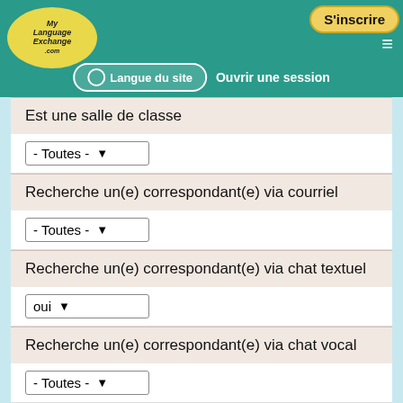S'inscrire | Langue du site | Ouvrir une session
Est une salle de classe
- Toutes -
Recherche un(e) correspondant(e) via courriel
- Toutes -
Recherche un(e) correspondant(e) via chat textuel
oui
Recherche un(e) correspondant(e) via chat vocal
- Toutes -
Recherche un(e) correspondant(e) en personne